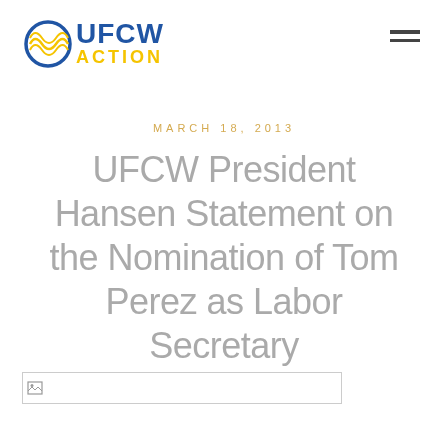UFCW ACTION
MARCH 18, 2013
UFCW President Hansen Statement on the Nomination of Tom Perez as Labor Secretary
[Figure (photo): Image placeholder for associated photo]